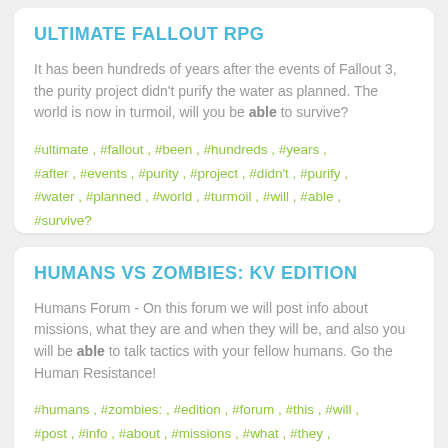ULTIMATE FALLOUT RPG
It has been hundreds of years after the events of Fallout 3, the purity project didn't purify the water as planned. The world is now in turmoil, will you be able to survive?
#ultimate , #fallout , #been , #hundreds , #years , #after , #events , #purity , #project , #didn't , #purify , #water , #planned , #world , #turmoil , #will , #able , #survive?
HUMANS VS ZOMBIES: KV EDITION
Humans Forum - On this forum we will post info about missions, what they are and when they will be, and also you will be able to talk tactics with your fellow humans. Go the Human Resistance!
#humans , #zombies: , #edition , #forum , #this , #will , #post , #info , #about , #missions , #what , #they , #when , #also , #able , #talk , #tactics , #with , #your , #fellow , #human , #resist